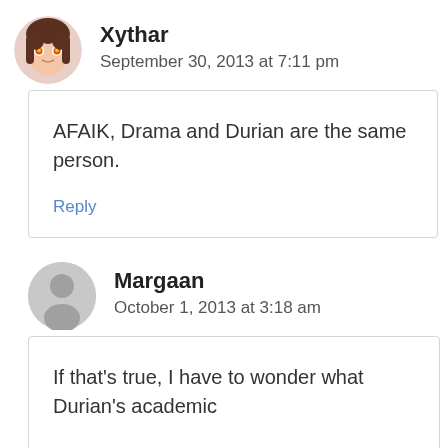Xythar
September 30, 2013 at 7:11 pm
AFAIK, Drama and Durian are the same person.
Reply
Margaan
October 1, 2013 at 3:18 am
If that’s true, I have to wonder what Durian’s academic